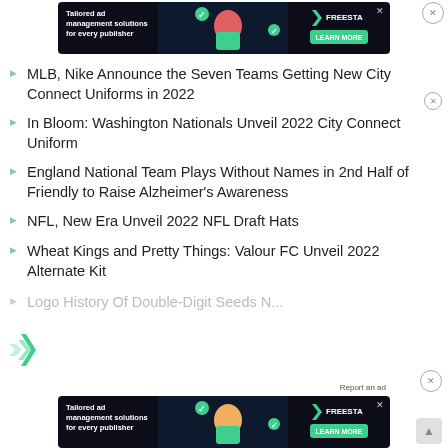[Figure (screenshot): Freestar ad banner at top — dark background with illustration and 'Tailored ad management solutions for every publisher' text, LEARN MORE button]
MLB, Nike Announce the Seven Teams Getting New City Connect Uniforms in 2022
In Bloom: Washington Nationals Unveil 2022 City Connect Uniform
England National Team Plays Without Names in 2nd Half of Friendly to Raise Alzheimer's Awareness
NFL, New Era Unveil 2022 NFL Draft Hats
Wheat Kings and Pretty Things: Valour FC Unveil 2022 Alternate Kit
Logo History Of Double-Digit Seeds N...
[Figure (screenshot): Freestar ad banner at bottom — same dark background ad with 'Tailored ad management solutions for every publisher' and LEARN MORE button. Report an ad text visible.]